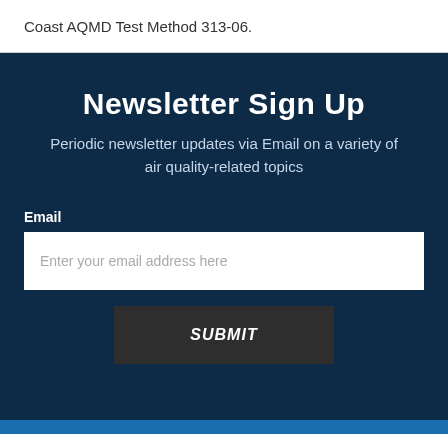Coast AQMD Test Method 313-06.
Newsletter Sign Up
Periodic newsletter updates via Email on a variety of air quality-related topics
Email
Enter your email address here
SUBMIT